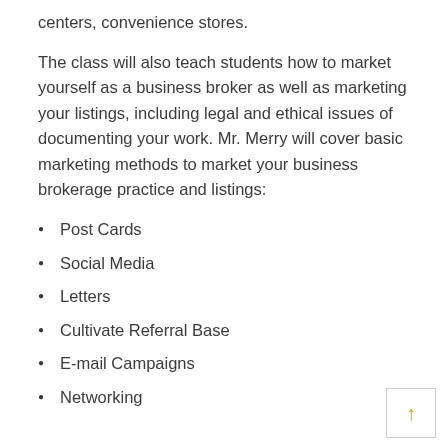centers, convenience stores.
The class will also teach students how to market yourself as a business broker as well as marketing your listings, including legal and ethical issues of documenting your work. Mr. Merry will cover basic marketing methods to market your business brokerage practice and listings:
Post Cards
Social Media
Letters
Cultivate Referral Base
E-mail Campaigns
Networking